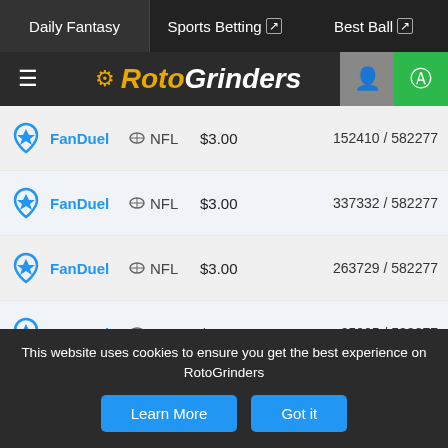Daily Fantasy | Sports Betting | Best Ball
[Figure (logo): RotoGrinders logo with hamburger menu, user icon, and dollar sign icon]
| Site | Sport | Entry Fee | Entries |
| --- | --- | --- | --- |
| FanDuel | NFL | $3.00 | 152410 / 582277 |
| FanDuel | NFL | $3.00 | 337332 / 582277 |
| FanDuel | NFL | $3.00 | 263729 / 582277 |
| FanDuel | NFL | $3.00 | 25905 / 582277 |
| FanDuel | NFL | $3.00 | 203123 / 582277 |
| FanDuel | NFL | $3.00 | 50753 / 582277 |
| FanDuel | NFL | $3.00 | 322221 / 582277 |
| FanDuel | NFL | $3.00 | 80884 / 582277 |
This website uses cookies to ensure you get the best experience on RotoGrinders
Learn More | Got it